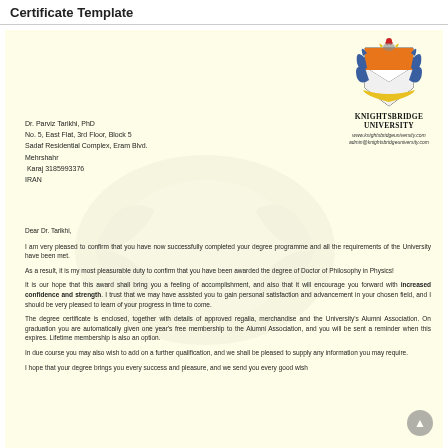Certificate Template
[Figure (logo): Knightsbridge University coat of arms / crest with heraldic shield in orange, black and white, flanked by blue leaves and a red bird on top]
KNIGHTSBRIDGE UNIVERSITY
www.knightsbridgeuniversity.com
admin@knightsbridgeuniversity.com
Dr. Parviz Tarikhi, PhD
No. 5, East Flat, 3rd Floor, Block 5
Sadaf Residential Complex, Eram Blvd.
Mehrshahr
 Karaj 3185993376
IRAN
Dear Dr. Tarikhi,
I am very pleased to confirm that you have now successfully completed your degree programme and all the requirements of the University have been met.
As a result, it is my most pleasurable duty to confirm that you have been awarded the degree of Doctor of Philosophy in Physics!
It is our hope that this award shall bring you a feeling of accomplishment, and also that it will encourage you forward with increased confidence and strength. I trust that we may have assisted you to gain personal satisfaction and advancement in your chosen field, and I should be very pleased to learn of your progress in time to come.
The degree certificate is enclosed, together with details of approved regalia, merchandise and the University's Alumni Association. On graduation you are automatically given one year's free membership to the Alumni Association, and you will be sent a reminder when this expires. Lifetime membership is also an option.
In due course you may also wish to add on a further qualification, and we shall be pleased to supply any information you may require.
I hope that your degree brings you every success and pleasure, and we send you every good wish